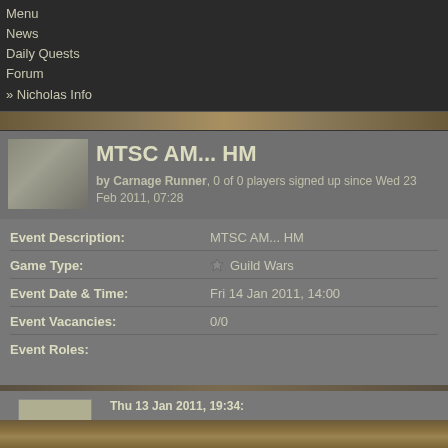Menu
News
Daily Quests
Forum
» Nicholas Info
MTSC AM... HM
by Carnage Runner, 0 of 0 players signed up since Wed 23 Feb 2011, 07:28
| Field | Value |
| --- | --- |
| Event Description: | MTSC AM... HM |
| Game Type: | Guild Wars |
| Event Date & Time: | Fri 14 Jan 2011, 14:00 |
| Event Vacancies: | 0/0 |
| Event Roles: |  |
Thu 13 Jan 2011, 19:34:
This is an automatically generated topic.
Carnage Runner
116 Posts